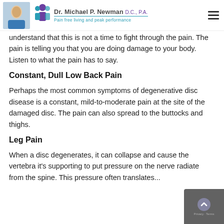Dr. Michael P. Newman D.C., P.A. — Pain free living and peak performance
understand that this is not a time to fight through the pain. The pain is telling you that you are doing damage to your body. Listen to what the pain has to say.
Constant, Dull Low Back Pain
Perhaps the most common symptoms of degenerative disc disease is a constant, mild-to-moderate pain at the site of the damaged disc. The pain can also spread to the buttocks and thighs.
Leg Pain
When a disc degenerates, it can collapse and cause the vertebra it's supporting to put pressure on the nerve radiate from the spine. This pressure often translates...